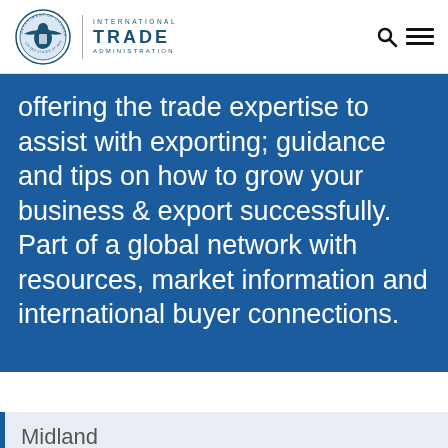International Trade Administration
offering the trade expertise to assist with exporting; guidance and tips on how to grow your business & export successfully. Part of a global network with resources, market information and international buyer connections.
Midland
Our Services